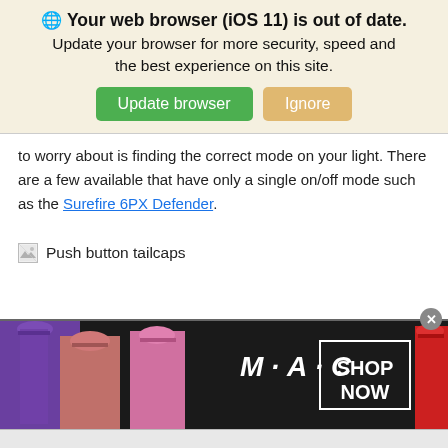🌐 Your web browser (iOS 11) is out of date. Update your browser for more security, speed and the best experience on this site.
Update browser | Ignore
to worry about is finding the correct mode on your light. There are a few available that have only a single on/off mode such as the Surefire 6PX Defender.
[Figure (photo): Broken image placeholder with alt text 'Push button tailcaps']
[Figure (photo): MAC cosmetics advertisement showing lipsticks in purple, pink, and red, with MAC logo and SHOP NOW button]